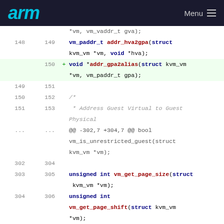arm  Menu
[Figure (screenshot): Code diff view showing changes to a C header file with line numbers, added lines highlighted in green and removed lines in pink. Shows functions: addr_hva2gpa, addr_gpa2alias (added), vm_get_page_size, vm_get_page_shift, vm_get_max_gfn (removed).]